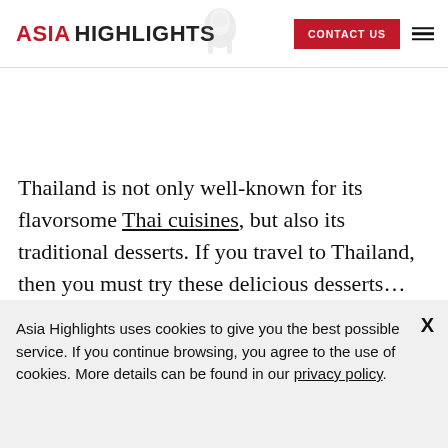ASIA HIGHLIGHTS | CONTACT US
Thailand is not only well-known for its flavorsome Thai cuisines, but also its traditional desserts. If you travel to Thailand, then you must try these delicious desserts…
Asia Highlights uses cookies to give you the best possible service. If you continue browsing, you agree to the use of cookies. More details can be found in our privacy policy.